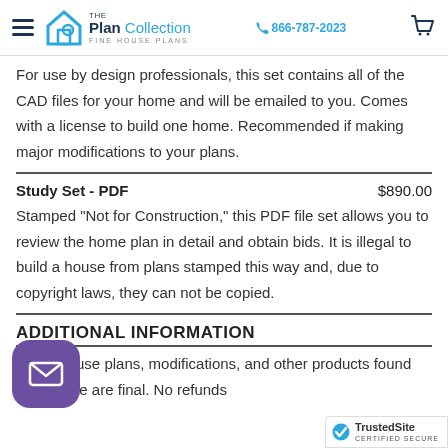The Plan Collection — Fine House Plans | 866-787-2023
For use by design professionals, this set contains all of the CAD files for your home and will be emailed to you. Comes with a license to build one home. Recommended if making major modifications to your plans.
Study Set - PDF    $890.00
Stamped "Not for Construction," this PDF file set allows you to review the home plan in detail and obtain bids. It is illegal to build a house from plans stamped this way and, due to copyright laws, they can not be copied.
ADDITIONAL INFORMATION
...s of house plans, modifications, and other products found on this site are final. No refunds